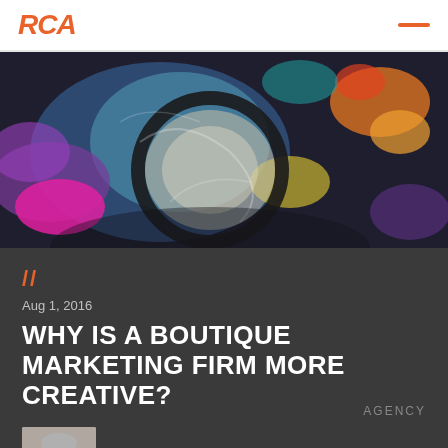/* logo */ AGENCY
[Figure (photo): Colorful abstract painting with swirling blues, purples, yellows, oranges, and pinks, featuring a large circular form in the center.]
//
Aug 1, 2016
WHY IS A BOUTIQUE MARKETING FIRM MORE CREATIVE?
[Figure (photo): Portrait photo of a woman with glasses wearing a black jacket and pink top, author photo for Gini Queen.]
by GINI QUEEN
AGENCY